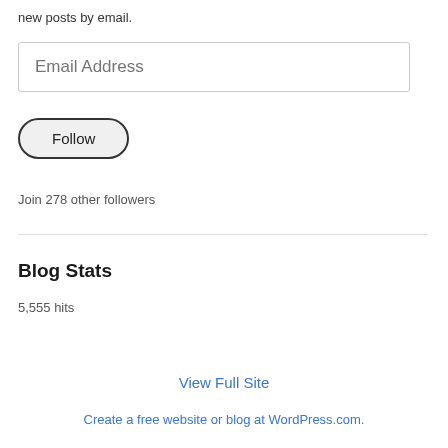new posts by email.
[Figure (screenshot): Email Address input field]
[Figure (screenshot): Follow button]
Join 278 other followers
Blog Stats
5,555 hits
View Full Site
Create a free website or blog at WordPress.com.